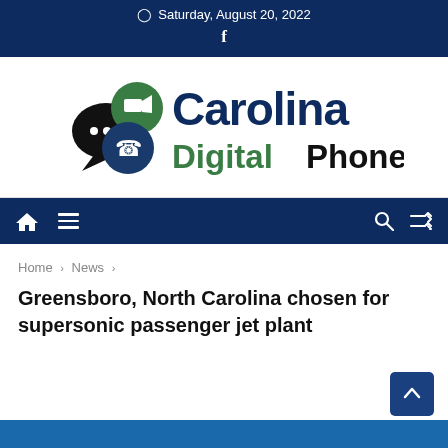Saturday, August 20, 2022
[Figure (logo): Carolina Digital Phone logo with communication icons (chat bubble, video, phone) and text 'Carolina DigitalPhone']
Navigation bar with home, menu, search, and shuffle icons
Home › News ›
Greensboro, North Carolina chosen for supersonic passenger jet plant